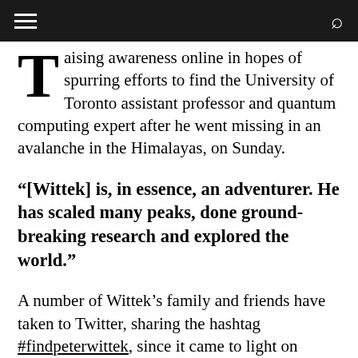≡  [navigation bar with hamburger menu and search icon]
raising awareness online in hopes of spurring efforts to find the University of Toronto assistant professor and quantum computing expert after he went missing in an avalanche in the Himalayas, on Sunday.
"[Wittek] is, in essence, an adventurer. He has scaled many peaks, done ground-breaking research and explored the world."
A number of Wittek's family and friends have taken to Twitter, sharing the hashtag #findpeterwittek, since it came to light on